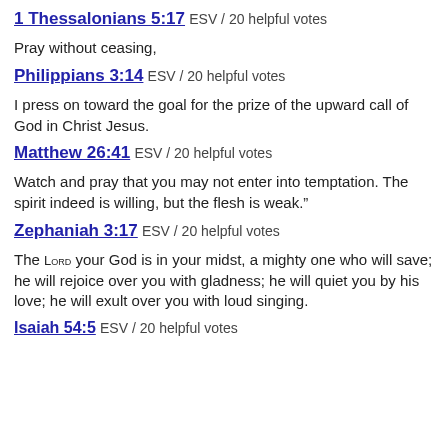1 Thessalonians 5:17 ESV / 20 helpful votes
Pray without ceasing,
Philippians 3:14 ESV / 20 helpful votes
I press on toward the goal for the prize of the upward call of God in Christ Jesus.
Matthew 26:41 ESV / 20 helpful votes
Watch and pray that you may not enter into temptation. The spirit indeed is willing, but the flesh is weak."
Zephaniah 3:17 ESV / 20 helpful votes
The LORD your God is in your midst, a mighty one who will save; he will rejoice over you with gladness; he will quiet you by his love; he will exult over you with loud singing.
Isaiah 54:5 ESV / 20 helpful votes